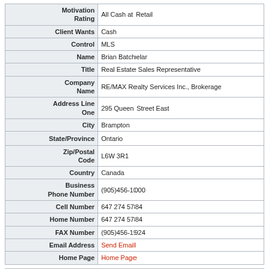| Field | Value |
| --- | --- |
| Motivation Rating | All Cash at Retail |
| Client Wants | Cash |
| Control | MLS |
| Name | Brian Batchelar |
| Title | Real Estate Sales Representative |
| Company Name | RE/MAX Realty Services Inc., Brokerage |
| Address Line One | 295 Queen Street East |
| City | Brampton |
| State/Province | Ontario |
| Zip/Postal Code | L6W 3R1 |
| Country | Canada |
| Business Phone Number | (905)456-1000 |
| Cell Number | 647 274 5784 |
| Home Number | 647 274 5784 |
| FAX Number | (905)456-1924 |
| Email Address | Send Email |
| Home Page | Home Page |
NEW PRICE!Belleville(1.75 hrs E of Toronto)Exciting opp to own your own well establshd (apprx 35 yrs),successful turn-key hair salon in busiest mall-NOW $69k!